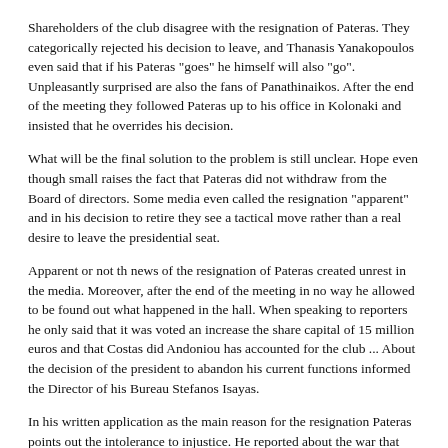Shareholders of the club disagree with the resignation of Pateras. They categorically rejected his decision to leave, and Thanasis Yanakopoulos even said that if his Pateras "goes" he himself will also "go". Unpleasantly surprised are also the fans of Panathinaikos. After the end of the meeting they followed Pateras up to his office in Kolonaki and insisted that he overrides his decision.
What will be the final solution to the problem is still unclear. Hope even though small raises the fact that Pateras did not withdraw from the Board of directors. Some media even called the resignation "apparent" and in his decision to retire they see a tactical move rather than a real desire to leave the presidential seat.
Apparent or not th news of the resignation of Pateras created unrest in the media. Moreover, after the end of the meeting in no way he allowed to be found out what happened in the hall. When speaking to reporters he only said that it was voted an increase the share capital of 15 million euros and that Costas did Andoniou has accounted for the club ... About the decision of the president to abandon his current functions informed the Director of his Bureau Stefanos Isayas.
In his written application as the main reason for the resignation Pateras points out the intolerance to injustice. He reported about the war that was declared and about the offensive articles in the newspaper "Prasini". He claims that some recognize the successes of the team only if they do not conflict with their goals and ambitions. Pateras thanked for the contribution and support of the management, shareholders of the club and the fans of the club. He expresses special thanks to Andreas Vgenopoulos who in his words since the very beginning stood beside him and supported him. Here is a snippet from the application of the former president: "My first public performance after years of work in Panathinaikos was on April 13, 2008, when people who demonstrated outside the stadium were more than those who were in it. My last public appearance was on May 2, 2010 when as president of the Super League I handed the